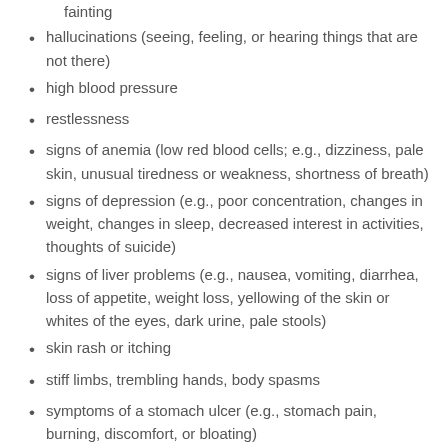fainting
hallucinations (seeing, feeling, or hearing things that are not there)
high blood pressure
restlessness
signs of anemia (low red blood cells; e.g., dizziness, pale skin, unusual tiredness or weakness, shortness of breath)
signs of depression (e.g., poor concentration, changes in weight, changes in sleep, decreased interest in activities, thoughts of suicide)
signs of liver problems (e.g., nausea, vomiting, diarrhea, loss of appetite, weight loss, yellowing of the skin or whites of the eyes, dark urine, pale stools)
skin rash or itching
stiff limbs, trembling hands, body spasms
symptoms of a stomach ulcer (e.g., stomach pain, burning, discomfort, or bloating)